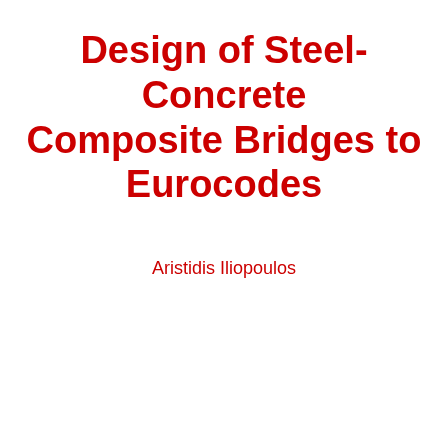Design of Steel-Concrete Composite Bridges to Eurocodes
Aristidis Iliopoulos